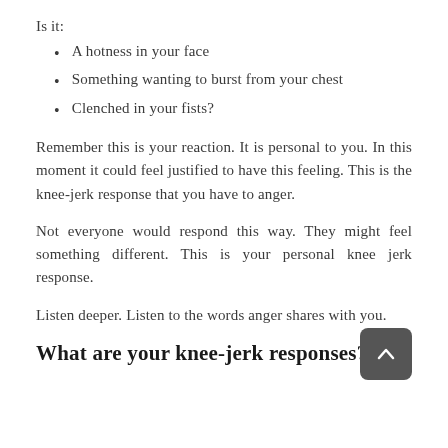Is it:
A hotness in your face
Something wanting to burst from your chest
Clenched in your fists?
Remember this is your reaction. It is personal to you. In this moment it could feel justified to have this feeling. This is the knee-jerk response that you have to anger.
Not everyone would respond this way. They might feel something different. This is your personal knee jerk response.
Listen deeper. Listen to the words anger shares with you.
What are your knee-jerk responses?